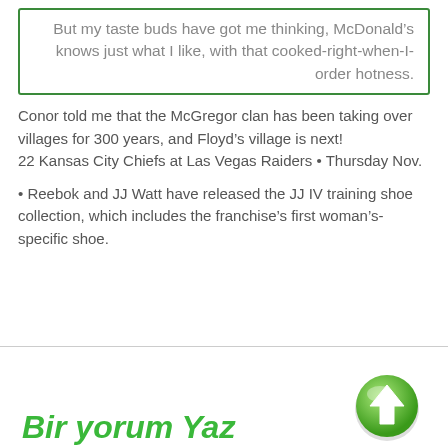But my taste buds have got me thinking, McDonald's knows just what I like, with that cooked-right-when-I-order hotness.
Conor told me that the McGregor clan has been taking over villages for 300 years, and Floyd's village is next!
22 Kansas City Chiefs at Las Vegas Raiders • Thursday Nov.
• Reebok and JJ Watt have released the JJ IV training shoe collection, which includes the franchise's first woman's-specific shoe.
Bir yorum Yaz